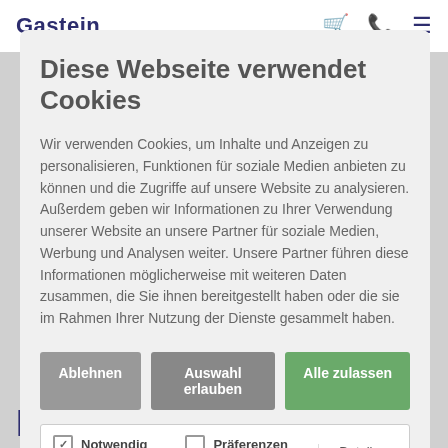Gastein
Diese Webseite verwendet Cookies
Wir verwenden Cookies, um Inhalte und Anzeigen zu personalisieren, Funktionen für soziale Medien anbieten zu können und die Zugriffe auf unsere Website zu analysieren. Außerdem geben wir Informationen zu Ihrer Verwendung unserer Website an unsere Partner für soziale Medien, Werbung und Analysen weiter. Unsere Partner führen diese Informationen möglicherweise mit weiteren Daten zusammen, die Sie ihnen bereitgestellt haben oder die sie im Rahmen Ihrer Nutzung der Dienste gesammelt haben.
Ablehnen | Auswahl erlauben | Alle zulassen
Notwendig  Präferenzen  Statistiken  Marketing  Details zeigen